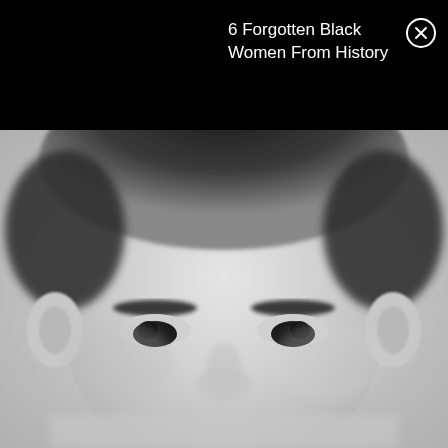6 Forgotten Black Women From History
[Figure (photo): Black and white close-up portrait photograph of a young child (boy) with short dark hair, prominent ears, and a neutral expression, facing the camera directly.]